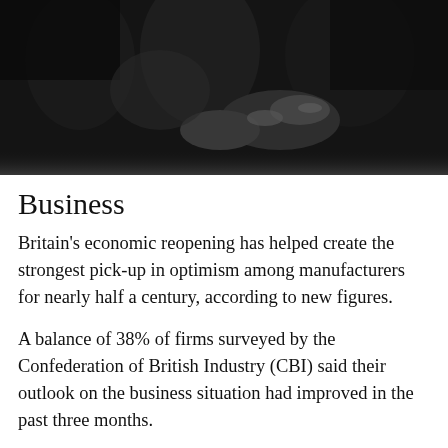[Figure (photo): Industrial workers in dark clothing working with machinery in a factory or workshop setting]
Business
Britain's economic reopening has helped create the strongest pick-up in optimism among manufacturers for nearly half a century, according to new figures.
A balance of 38% of firms surveyed by the Confederation of British Industry (CBI) said their outlook on the business situation had improved in the past three months.